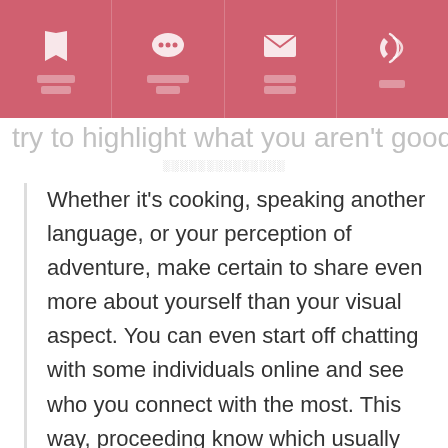[Navigation bar with 4 items: bookmark icon with redacted text, chat icon with redacted text, email icon with redacted text, phone icon with redacted text]
try to highlight what you aren't good at.
Whether it's cooking, speaking another language, or your perception of adventure, make certain to share even more about yourself than your visual aspect. You can even start off chatting with some individuals online and see who you connect with the most. This way, proceeding know which usually people aid good meet for you. Using your profile to your advantage Going